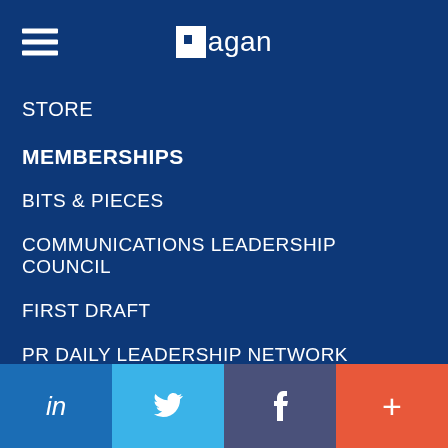Ragan
STORE
MEMBERSHIPS
BITS & PIECES
COMMUNICATIONS LEADERSHIP COUNCIL
FIRST DRAFT
PR DAILY LEADERSHIP NETWORK
RAGAN INSIDER
RAGAN TRAINING
WRITER'S PASSPORT
in | Twitter | f | +